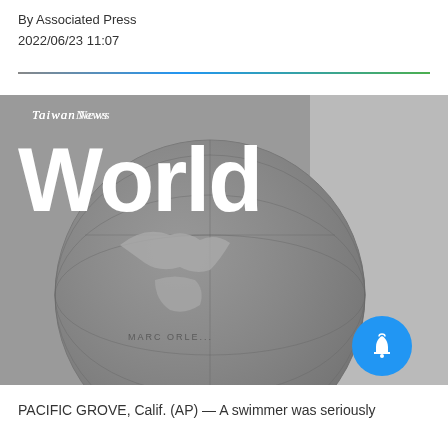By Associated Press
2022/06/23 11:07
[Figure (photo): Hero banner image showing a vintage globe in grayscale, with Taiwan News branding and the category label 'World' in large white bold text overlaid. A blue notification bell button is visible in the bottom right corner.]
PACIFIC GROVE, Calif. (AP) — A swimmer was seriously